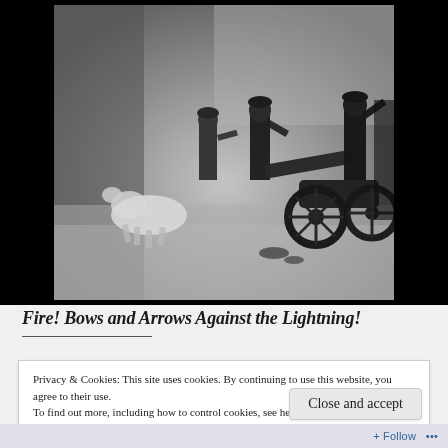[Figure (photo): Black and white photograph of toy/model soldiers with a cannon and horse figurines. Soldiers in military uniform are posed around an artillery piece with large wheels. The scene is in greyscale with black borders on the sides.]
Fire! Bows and Arrows Against the Lightning!
Privacy & Cookies: This site uses cookies. By continuing to use this website, you agree to their use.
To find out more, including how to control cookies, see here: Cookie Policy
Close and accept
Follow ...